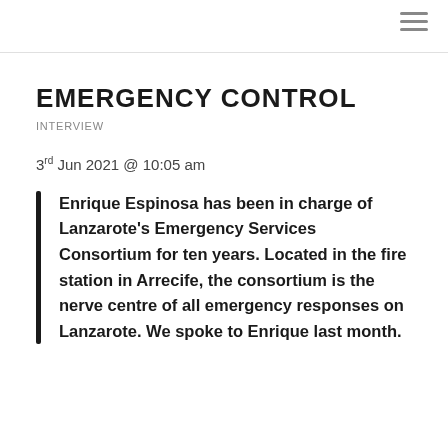EMERGENCY CONTROL
INTERVIEW
3rd Jun 2021 @ 10:05 am
Enrique Espinosa has been in charge of Lanzarote's Emergency Services Consortium for ten years. Located in the fire station in Arrecife, the consortium is the nerve centre of all emergency responses on Lanzarote. We spoke to Enrique last month.